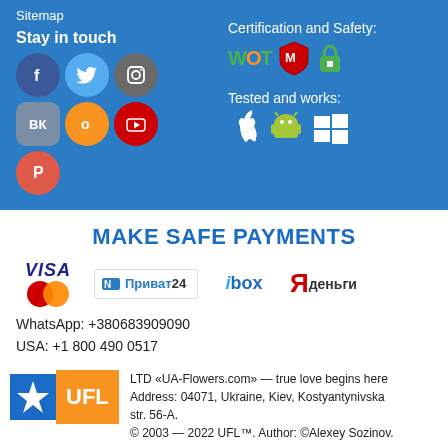Sitemap
Stay in touch
[Figure (illustration): Social media icons: Facebook, Twitter, Instagram, VK, Odnoklassniki, YouTube, Pinterest]
Certification and Safety:
[Figure (logo): WOT, McAfee, and green lock certification badges]
Tested and works:
[Figure (illustration): Apple, Android, and Windows platform icons]
MAKE SAFE PAYMENTS
[Figure (logo): Payment logos: VISA, MasterCard, Приват24, ibox, Яденьги]
WhatsApp: +380683909090
USA: +1 800 490 0517
UK: +0 800 014 8885
[Figure (logo): UFL logo with blue star and orange UFL text box]
LTD «UA-Flowers.com» — true love begins here
Address: 04071, Ukraine, Kiev, Kostyantynivska str. 56-A.
© 2003 — 2022 UFL™. Author: ©Alexey Sozinov.